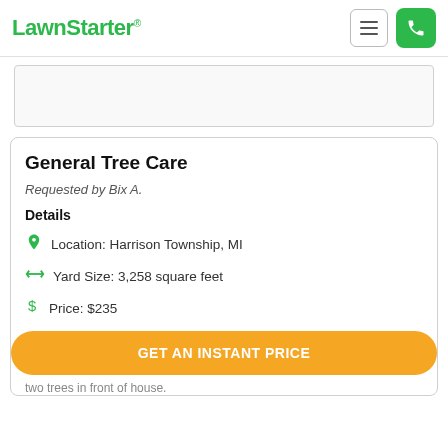LawnStarter
[Figure (other): Gray placeholder image area with border]
General Tree Care
Requested by Bix A.
Details
Location: Harrison Township, MI
Yard Size: 3,258 square feet
Price: $235
GET AN INSTANT PRICE
two trees in front of house.